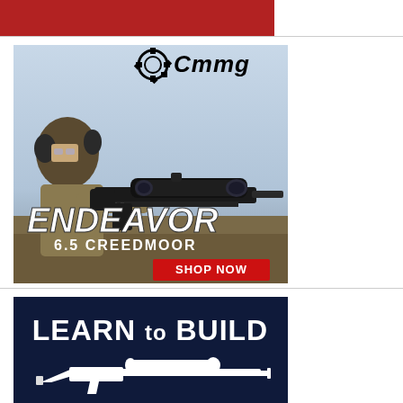[Figure (illustration): CMMG Endeavor 6.5 Creedmoor rifle advertisement. Shows a man wearing ear protection and glasses aiming a rifle with a scope. Text reads CMMG logo at top, ENDEAVOR in large italic font, 6.5 CREEDMOOR below it, and a red SHOP NOW button.]
[Figure (illustration): Learn to Build advertisement on dark navy blue background with white silhouette of a rifle with scope. Text reads LEARN to BUILD in large white bold font.]